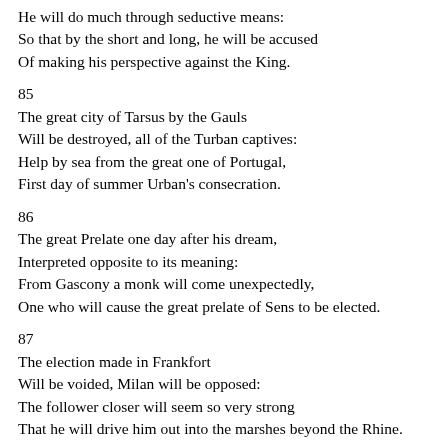He will do much through seductive means:
So that by the short and long, he will be accused
Of making his perspective against the King.
85
The great city of Tarsus by the Gauls
Will be destroyed, all of the Turban captives:
Help by sea from the great one of Portugal,
First day of summer Urban's consecration.
86
The great Prelate one day after his dream,
Interpreted opposite to its meaning:
From Gascony a monk will come unexpectedly,
One who will cause the great prelate of Sens to be elected.
87
The election made in Frankfort
Will be voided, Milan will be opposed:
The follower closer will seem so very strong
That he will drive him out into the marshes beyond the Rhine.
88
A great realm will be left desolated,
Near the Ebro an assembly will be formed:
The Pyrenees mountains will console him,